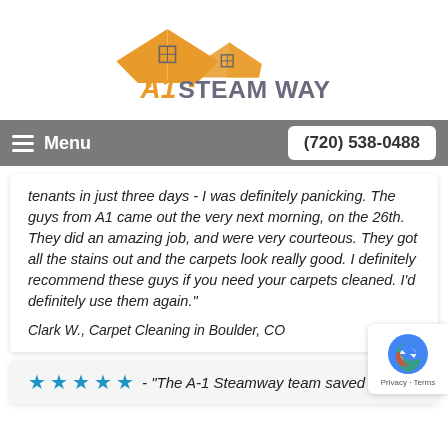[Figure (logo): A1 Steam Way logo with orange house/roof icon and gray text 'A1 STEAM WAY']
Menu   (720) 538-0488
tenants in just three days - I was definitely panicking. The guys from A1 came out the very next morning, on the 26th. They did an amazing job, and were very courteous. They got all the stains out and the carpets look really good. I definitely recommend these guys if you need your carpets cleaned. I'd definitely use them again."
Clark W., Carpet Cleaning in Boulder, CO
★★★★★ - "The A-1 Steamway team saved my